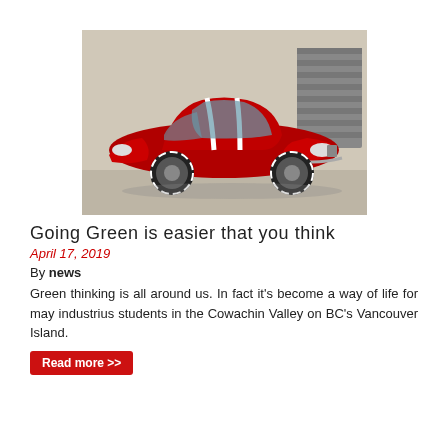[Figure (photo): A red classic muscle car (Shelby Mustang) with white racing stripes, parked in front of a light-colored building wall with a garage door visible in the background.]
Going Green is easier that you think
April 17, 2019
By news
Green thinking is all around us. In fact it's become a way of life for may industrius students in the Cowachin Valley on BC's Vancouver Island.
Read more >>